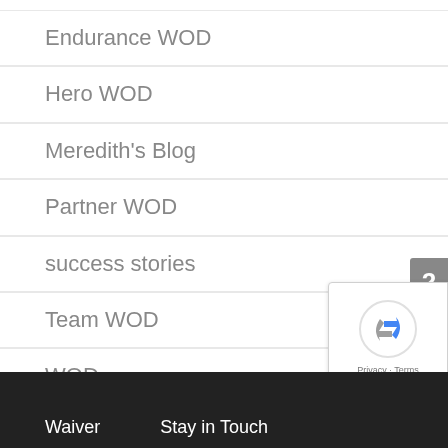Endurance WOD
Hero WOD
Meredith's Blog
Partner WOD
success stories
Team WOD
WOD
Yoga
Waiver   Stay in Touch